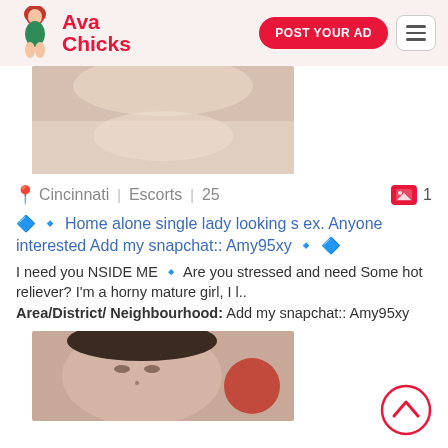Ava Chicks | POST YOUR AD
[Figure (photo): Partial torso photo showing midsection in white fabric]
Cincinnati | Escorts | 25 | 1
🔷 🔹 Home alone single lady looking s ex. Anyone interested Add my snapchat:: Amy95xy 🔹 🔷
I need you NSIDE ME 🔹 Are you stressed and need Some hot reliever? I'm a horny mature girl, I l.. Area/District/ Neighbourhood: Add my snapchat:: Amy95xy
[Figure (photo): Close-up face photo of young woman with dark hair and orange/red accessory]